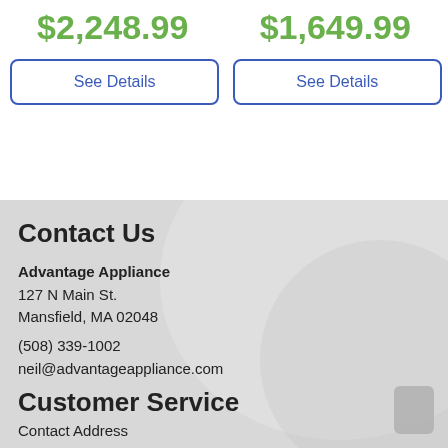$2,248.99
$1,649.99
See Details
See Details
Contact Us
Advantage Appliance
127 N Main St.
Mansfield, MA 02048
(508) 339-1002
neil@advantageappliance.com
Customer Service
Contact Address